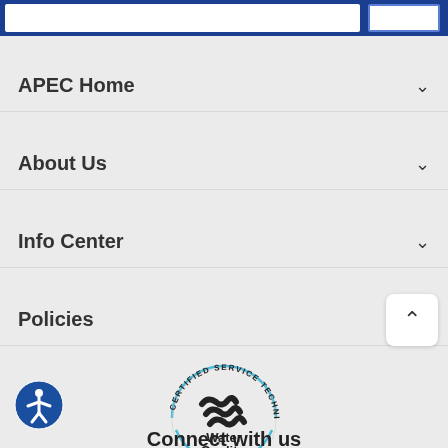APEC Home
About Us
Info Center
Policies
[Figure (logo): Water Quality Association Certified Service Technician circular badge logo with black wave marks and blue arc text]
[Figure (logo): Blue circular accessibility icon with human figure]
Connect with us